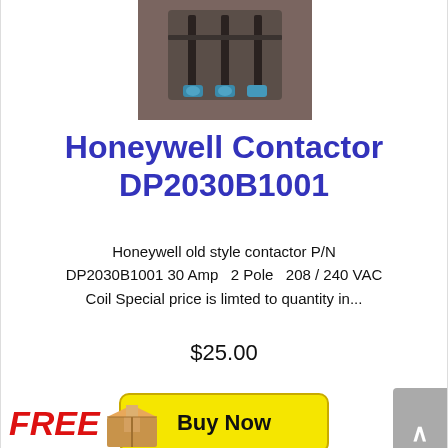[Figure (photo): Photo of Honeywell contactor DP2030B1001 component on brownish background]
Honeywell Contactor DP2030B1001
Honeywell old style contactor P/N DP2030B1001 30 Amp  2 Pole  208 / 240 VAC Coil Special price is limted to quantity in...
$25.00
[Figure (other): Yellow Buy Now button]
[Figure (other): Gray scroll-to-top button with up arrow]
FREE